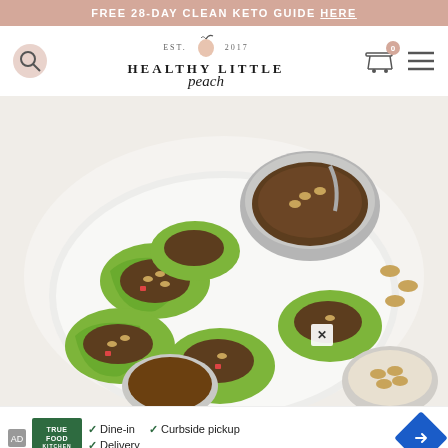FREE 28-DAY CLEAN KETO GUIDE HERE
[Figure (logo): Healthy Little Peach website logo with peach illustration, EST. 2017, search icon, cart icon, and hamburger menu]
[Figure (photo): Overhead shot of lettuce wrap appetizers filled with ground meat, vegetables, and cashews on a white plate, with a gray bowl of filling and small dish of sauce]
Dine-in  Curbside pickup  Delivery — True Food Kitchen advertisement